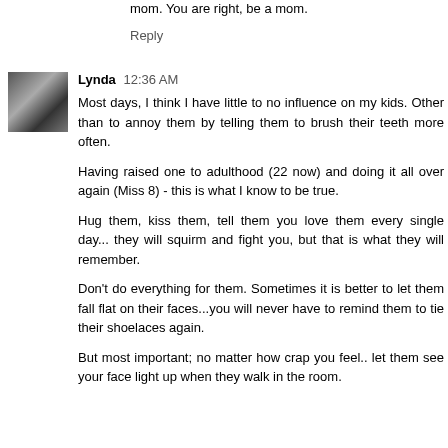mom. You are right, be a mom.
Reply
Lynda  12:36 AM
Most days, I think I have little to no influence on my kids. Other than to annoy them by telling them to brush their teeth more often.
Having raised one to adulthood (22 now) and doing it all over again (Miss 8) - this is what I know to be true.
Hug them, kiss them, tell them you love them every single day... they will squirm and fight you, but that is what they will remember.
Don't do everything for them. Sometimes it is better to let them fall flat on their faces...you will never have to remind them to tie their shoelaces again.
But most important; no matter how crap you feel.. let them see your face light up when they walk in the room.